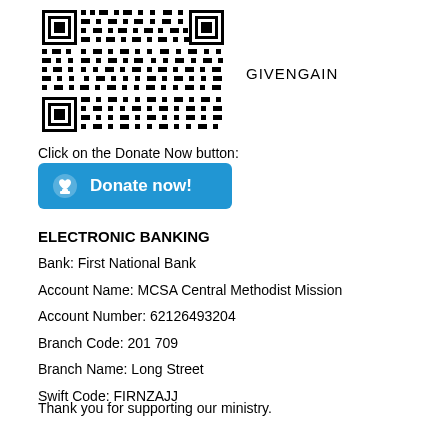[Figure (other): QR code for GivenGain donation link]
GIVENGAIN
Click on the Donate Now button:
[Figure (other): Blue Donate now! button with heart/hand icon]
ELECTRONIC BANKING
Bank: First National Bank
Account Name: MCSA Central Methodist Mission
Account Number: 62126493204
Branch Code: 201 709
Branch Name: Long Street
Swift Code: FIRNZAJJ
Thank you for supporting our ministry.